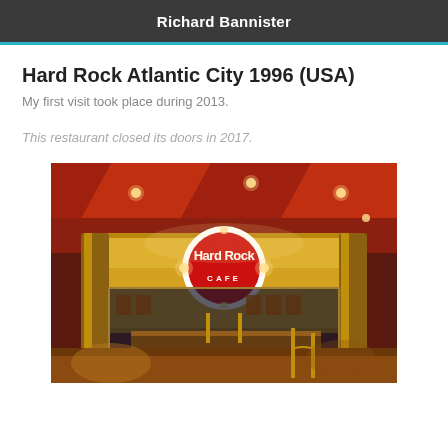Richard Bannister
Hard Rock Atlantic City 1996 (USA)
My first visit took place during 2013.
This restaurant closed its doors in 2017.
[Figure (photo): Interior photo of the Hard Rock Cafe entrance in Atlantic City, showing the illuminated Hard Rock Cafe neon sign in a circle, golden/bronze curved facade, red ceiling with geometric panels, and restaurant interior visible through glass.]